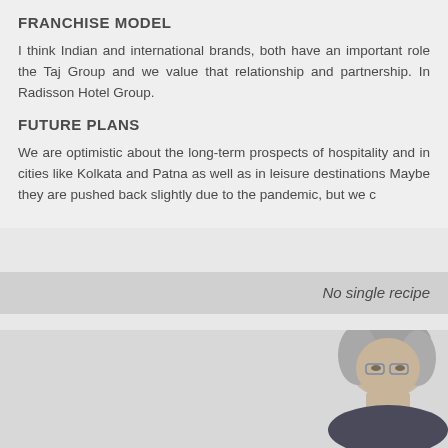FRANCHISE MODEL
I think Indian and international brands, both have an important role the Taj Group and we value that relationship and partnership. In Radisson Hotel Group.
FUTURE PLANS
We are optimistic about the long-term prospects of hospitality and in cities like Kolkata and Patna as well as in leisure destinations Maybe they are pushed back slightly due to the pandemic, but we c
No single recipe
[Figure (photo): A person with grey/silver hair, partial face visible in the lower right portion of the image]